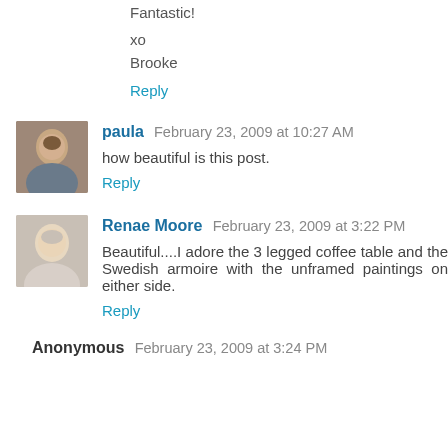Fantastic!
xo
Brooke
Reply
paula  February 23, 2009 at 10:27 AM
how beautiful is this post.
Reply
Renae Moore  February 23, 2009 at 3:22 PM
Beautiful....I adore the 3 legged coffee table and the Swedish armoire with the unframed paintings on either side.
Reply
Anonymous  February 23, 2009 at 3:24 PM